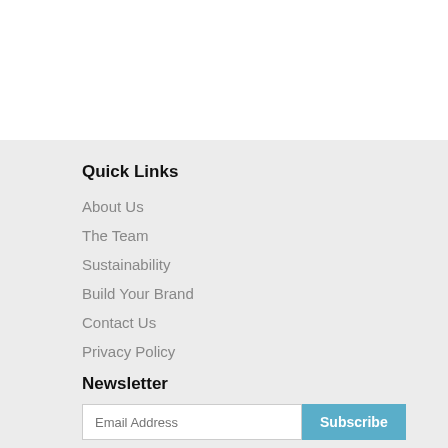Quick Links
About Us
The Team
Sustainability
Build Your Brand
Contact Us
Privacy Policy
Newsletter
Email Address
Subscribe